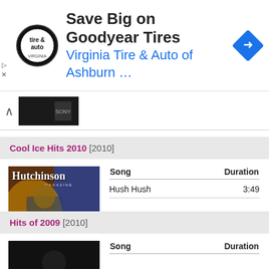[Figure (infographic): Advertisement banner: Virginia Tire & Auto logo, 'Save Big on Goodyear Tires' headline, 'Virginia Tire & Auto of Ashburn ...' subheading in blue, blue diamond arrow icon on right]
[Figure (screenshot): Collapsed media player bar with chevron up icon and dark album thumbnail]
Cool Ice Hits 2010 [2010]
[Figure (photo): Hutchinson Magazine album cover featuring Brendan Martinez]
| Song | Duration |
| --- | --- |
| Hush Hush | 3:49 |
Hits of 2009 [2010]
| Song | Duration |
| --- | --- |